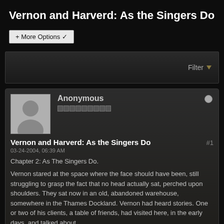Vernon and Harverd: As the Singers Do
+ More Options ▾
[Figure (screenshot): Filter bar with Filter label and dropdown arrow]
Anonymous
Vernon and Harverd: As the Singers Do #1
03-24-2004, 06:39 AM
Chapter 2: As The Singers Do.
Vernon stared at the space where the face should have been, still struggling to grasp the fact that no head actually sat, perched upon shoulders. They sat now in an old, abandoned warehouse, somewhere in the Thames Dockland. Vernon had heard stories. One or two of his clients, a table of friends, had visited here, in the early days, and talked about